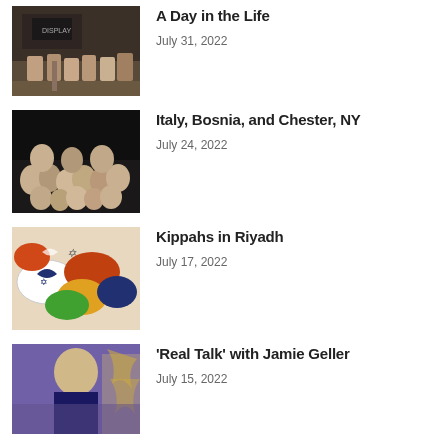[Figure (photo): People seated at tables in a conference/meeting room with a speaker at the front]
A Day in the Life
July 31, 2022
[Figure (photo): Large group of people posing together for a photo, some seated in front]
Italy, Bosnia, and Chester, NY
July 24, 2022
[Figure (photo): Colorful kippahs (Jewish head coverings) arranged together]
Kippahs in Riyadh
July 17, 2022
[Figure (photo): A woman with blonde hair speaking, purple background with gold decorations]
‘Real Talk’ with Jamie Geller
July 15, 2022